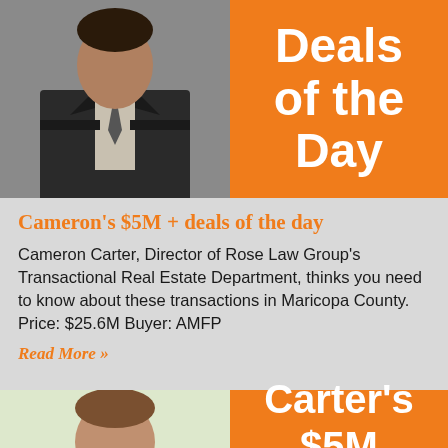[Figure (photo): Top portion of a banner image showing a person in a dark suit, partially cropped, with an orange panel showing 'Deals of the Day' text (partially visible)]
Cameron's $5M + deals of the day
Cameron Carter, Director of Rose Law Group's Transactional Real Estate Department, thinks you need to know about these transactions in Maricopa County. Price: $25.6M Buyer: AMFP
Read More »
[Figure (photo): Bottom banner image showing a smiling man in a dark suit with a light tie, with an orange panel showing 'Carter's $5M Deals of the' text (partially visible)]